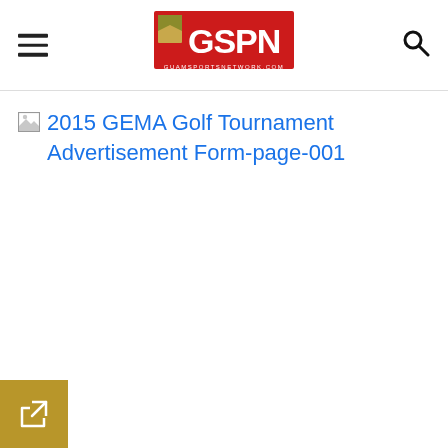GSPN - Guam Sports Network
2015 GEMA Golf Tournament Advertisement Form-page-001